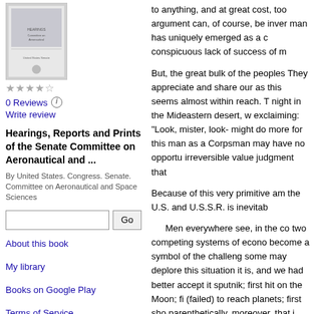[Figure (illustration): Book cover thumbnail for a Senate Committee document]
0 Reviews  Write review
Hearings, Reports and Prints of the Senate Committee on Aeronautical and ...
By United States. Congress. Senate. Committee on Aeronautical and Space Sciences
About this book
My library
Books on Google Play
Terms of Service
to anything, and at great cost, too argument can, of course, be inver man has uniquely emerged as a c conspicuous lack of success of m
But, the great bulk of the peoples They appreciate and share our as this seems almost within reach. T night in the Mideastern desert, w exclaiming: “Look, mister, look- might do more for this man as a Corpsman may have no opportu irreversible value judgment that
Because of this very primitive am the U.S. and U.S.S.R. is inevitab
Men everywhere see, in the co two competing systems of econo become a symbol of the challeng some may deplore this situation it is, and we had better accept it sputnik; first hit on the Moon; fi (failed) to reach planets; first sho parenthetically, moreover, that i